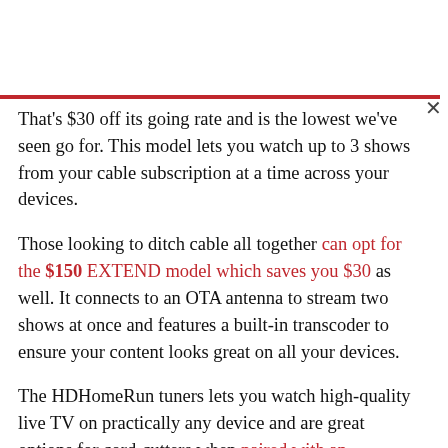That's $30 off its going rate and is the lowest we've seen go for. This model lets you watch up to 3 shows from your cable subscription at a time across your devices.
Those looking to ditch cable all together can opt for the $150 EXTEND model which saves you $30 as well. It connects to an OTA antenna to stream two shows at once and features a built-in transcoder to ensure your content looks great on all your devices.
The HDHomeRun tuners lets you watch high-quality live TV on practically any device and are great options for cord-cutters when paired with an antenna. Plex users can get even more out of the tuner with features like DVR and more.